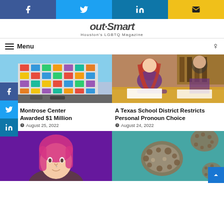Share bar: Facebook, Twitter, LinkedIn, Email
[Figure (logo): OutSmart Houston's LGBTQ Magazine logo]
Menu
[Figure (photo): Colorful multi-colored building facade - Montrose Center]
Montrose Center Awarded $1 Million
August 25, 2022
[Figure (photo): Two students writing at a table - Texas School District]
A Texas School District Restricts Personal Pronoun Choice
August 24, 2022
[Figure (photo): Young woman with pink hair on purple background]
[Figure (photo): Monkeypox virus particles on teal background]